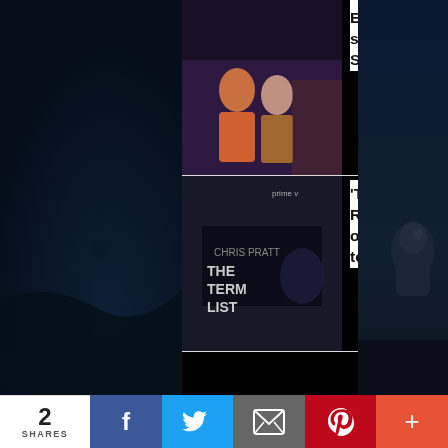[Figure (photo): Movie still from Everything Everywhere All At Once - thumbnail]
Everything Everywhere All At Once slated to release in India on September 10
[Figure (photo): The Terminal List Prime Video poster - thumbnail]
'The Terminal List' Review: Marred by a lack of novelty, the series fails to live up to the hype
[Figure (photo): Black and white photo of Sergio Leone directing - thumbnail]
Best Films of Sergio Leone
[Figure (photo): Westworld Season 4 still - thumbnail]
'Westworld - Season 4' Review: It does have its moments but the show is still struggling to rediscover its old magic
[Figure (infographic): Share bar with count 2 SHARES and social media buttons: Facebook, Twitter, Email, Pinterest, More]